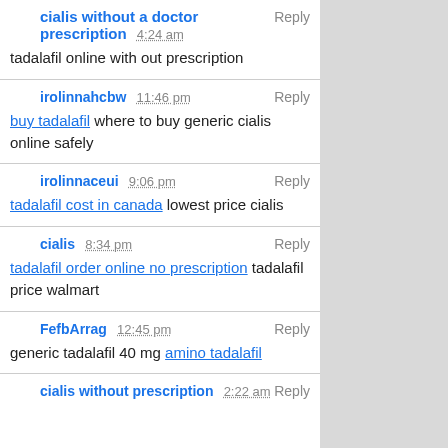cialis without a doctor prescription 4:24 am Reply | tadalafil online with out prescription
irolinnahcbw 11:46 pm Reply | buy tadalafil where to buy generic cialis online safely
irolinnaceui 9:06 pm Reply | tadalafil cost in canada lowest price cialis
cialis 8:34 pm Reply | tadalafil order online no prescription tadalafil price walmart
FefbArrag 12:45 pm Reply | generic tadalafil 40 mg amino tadalafil
cialis without prescription 2:22 am Reply